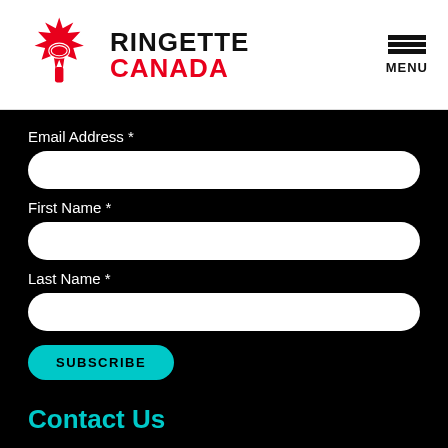[Figure (logo): Ringette Canada logo: red maple leaf with ringette ring, beside bold text RINGETTE in black and CANADA in red]
MENU
Email Address *
First Name *
Last Name *
SUBSCRIBE
Contact Us
613-748-5655
ringette@ringette.ca